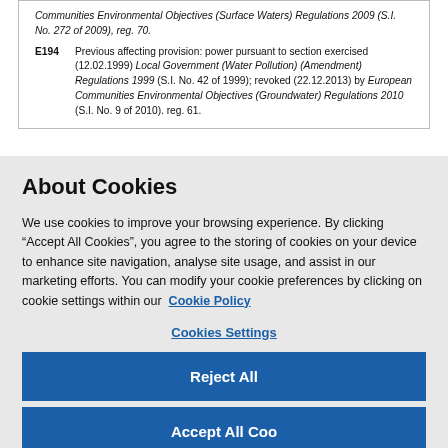Communities Environmental Objectives (Surface Waters) Regulations 2009 (S.I. No. 272 of 2009), reg. 70.
E194 Previous affecting provision: power pursuant to section exercised (12.02.1999) Local Government (Water Pollution) (Amendment) Regulations 1999 (S.I. No. 42 of 1999); revoked (22.12.2013) by European Communities Environmental Objectives (Groundwater) Regulations 2010 (S.I. No. 9 of 2010). reg. 61.
About Cookies
We use cookies to improve your browsing experience. By clicking “Accept All Cookies”, you agree to the storing of cookies on your device to enhance site navigation, analyse site usage, and assist in our marketing efforts. You can modify your cookie preferences by clicking on cookie settings within our  Cookie Policy
Cookies Settings
Reject All
Accept All Cookies